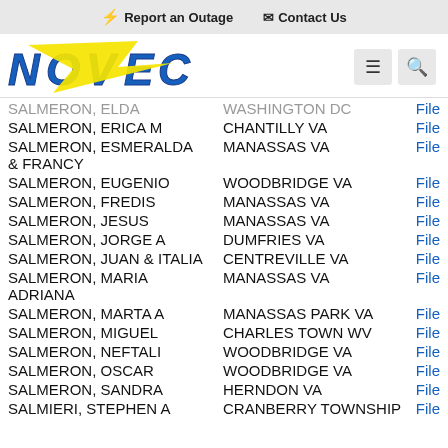⚡ Report an Outage   ✉ Contact Us
[Figure (logo): NOVEC logo — blue block letters with yellow lightning bolt diagonal stripe]
| Name | City/State | Action |
| --- | --- | --- |
| SALMERON, ELDA | WASHINGTON DC | File |
| SALMERON, ERICA M | CHANTILLY VA | File |
| SALMERON, ESMERALDA & FRANCY | MANASSAS VA | File |
| SALMERON, EUGENIO | WOODBRIDGE VA | File |
| SALMERON, FREDIS | MANASSAS VA | File |
| SALMERON, JESUS | MANASSAS VA | File |
| SALMERON, JORGE A | DUMFRIES VA | File |
| SALMERON, JUAN & ITALIA | CENTREVILLE VA | File |
| SALMERON, MARIA ADRIANA | MANASSAS VA | File |
| SALMERON, MARTA A | MANASSAS PARK VA | File |
| SALMERON, MIGUEL | CHARLES TOWN WV | File |
| SALMERON, NEFTALI | WOODBRIDGE VA | File |
| SALMERON, OSCAR | WOODBRIDGE VA | File |
| SALMERON, SANDRA | HERNDON VA | File |
| SALMIERI, STEPHEN A | CRANBERRY TOWNSHIP | File |